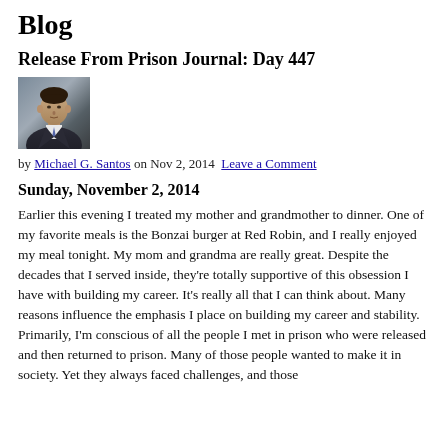Blog
Release From Prison Journal: Day 447
[Figure (photo): Photo of Michael G. Santos, a man in a suit]
by Michael G. Santos on Nov 2, 2014 Leave a Comment
Sunday, November 2, 2014
Earlier this evening I treated my mother and grandmother to dinner. One of my favorite meals is the Bonzai burger at Red Robin, and I really enjoyed my meal tonight. My mom and grandma are really great. Despite the decades that I served inside, they're totally supportive of this obsession I have with building my career. It's really all that I can think about. Many reasons influence the emphasis I place on building my career and stability. Primarily, I'm conscious of all the people I met in prison who were released and then returned to prison. Many of those people wanted to make it in society. Yet they always faced challenges, and those